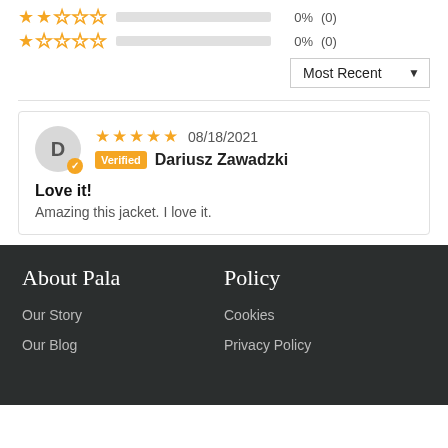2 stars: 0% (0)
1 star: 0% (0)
Most Recent (dropdown)
D — Dariusz Zawadzki — Verified — 08/18/2021 — 5 stars
Love it!
Amazing this jacket. I love it.
About Pala
Policy
Our Story
Our Blog
Cookies
Privacy Policy